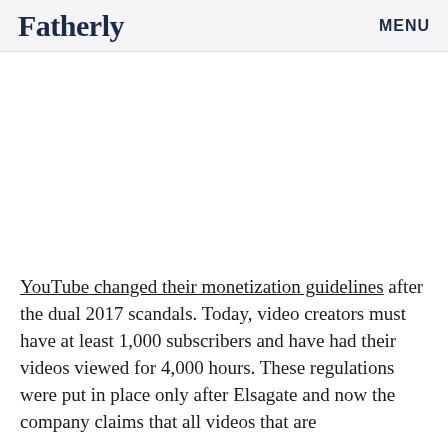Fatherly   MENU
[Figure (photo): White/blank image placeholder area]
YouTube changed their monetization guidelines after the dual 2017 scandals. Today, video creators must have at least 1,000 subscribers and have had their videos viewed for 4,000 hours. These regulations were put in place only after Elsagate and now the company claims that all videos that are